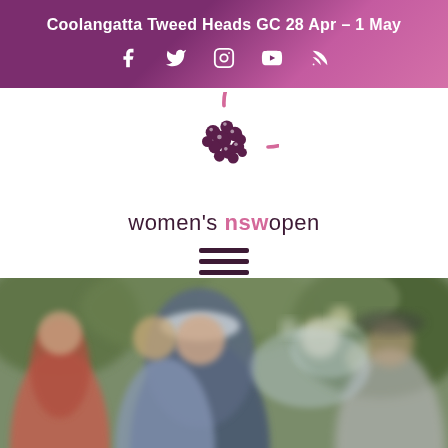Coolangatta Tweed Heads GC 28 Apr – 1 May
[Figure (logo): Women's NSW Open golf tournament logo with golf ball icon and text]
[Figure (photo): Golf players hugging and celebrating outdoors, blurred background with foliage]